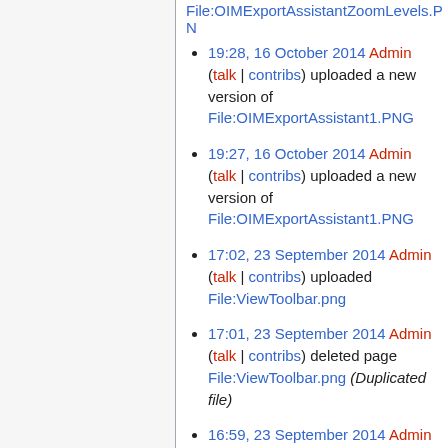File:OIMExportAssistantZoomLevels.PN...
19:28, 16 October 2014 Admin (talk | contribs) uploaded a new version of File:OIMExportAssistant1.PNG
19:27, 16 October 2014 Admin (talk | contribs) uploaded a new version of File:OIMExportAssistant1.PNG
17:02, 23 September 2014 Admin (talk | contribs) uploaded File:ViewToolbar.png
17:01, 23 September 2014 Admin (talk | contribs) deleted page File:ViewToolbar.png (Duplicated file)
16:59, 23 September 2014 Admin (talk | contribs) uploaded a new version of File:ViewToolbar.png
16:55, 23 September 2014 Admin (talk | contribs) uploaded...